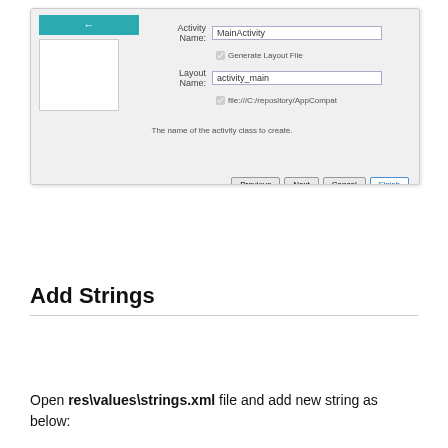[Figure (screenshot): Android Studio dialog screenshot showing Activity Name and Layout Name fields with checkboxes, Previous/Next/Cancel/Finish buttons, and a left panel with a teal arrow button and white preview box.]
Add Strings
Open res\values\strings.xml file and add new string as below: